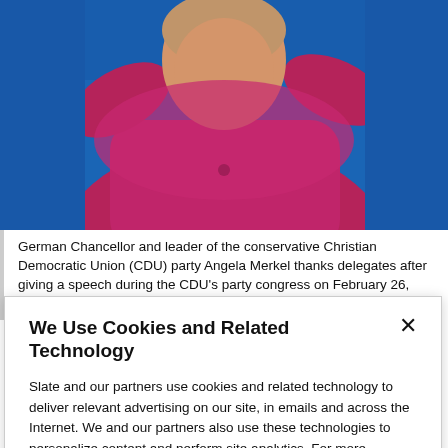[Figure (photo): Photo of Angela Merkel in a magenta/pink jacket against a blue background, gesturing with her hands raised]
German Chancellor and leader of the conservative Christian Democratic Union (CDU) party Angela Merkel thanks delegates after giving a speech during the CDU's party congress on February 26, 2018 in Berlin.  TOBIAS SCHWARZ/Getty Images
We Use Cookies and Related Technology
Slate and our partners use cookies and related technology to deliver relevant advertising on our site, in emails and across the Internet. We and our partners also use these technologies to personalize content and perform site analytics. For more information, see our terms and privacy policy.  Privacy Policy
OK